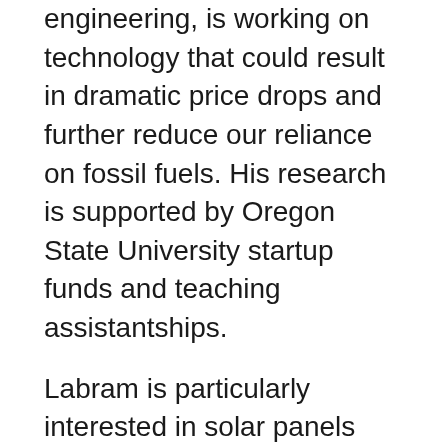engineering, is working on technology that could result in dramatic price drops and further reduce our reliance on fossil fuels. His research is supported by Oregon State University startup funds and teaching assistantships.
Labram is particularly interested in solar panels whose light-harvesting layer contains a class of materials called metal halide perovskites instead of silicon. Perovskites are a collection of compounds with optical and electronic properties (and efficiency) similar to those of crystalline semiconductors. But because perovskite cells are much cheaper to produce, they have the potential to change the economics of solar power.